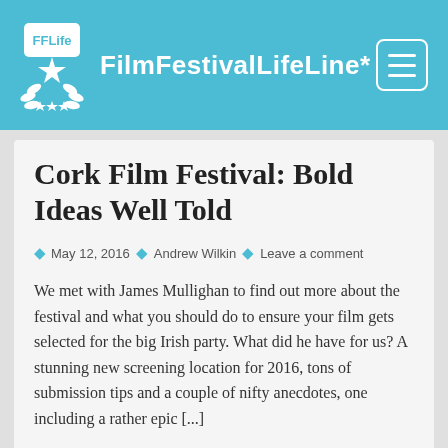FilmFestivalLifeLine*
Cork Film Festival: Bold Ideas Well Told
May 12, 2016  Andrew Wilkin  Leave a comment
We met with James Mullighan to find out more about the festival and what you should do to ensure your film gets selected for the big Irish party. What did he have for us? A stunning new screening location for 2016, tons of submission tips and a couple of nifty anecdotes, one including a rather epic [...]
READ MORE